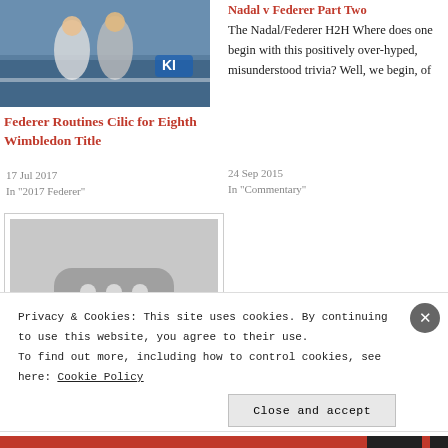[Figure (photo): Photo of two tennis players (Federer and Cilic) at net on a tennis court]
Federer Routines Cilic for Eighth Wimbledon Title
17 Jul 2017
In "2017 Federer"
Nadal v Federer Part Two
The Nadal/Federer H2H Where does one begin with this positively over-hyped, misunderstood trivia? Well, we begin, of
24 Sep 2015
In "Commentary"
[Figure (photo): Placeholder image with three dots icon]
Privacy & Cookies: This site uses cookies. By continuing to use this website, you agree to their use.
To find out more, including how to control cookies, see here: Cookie Policy
Close and accept